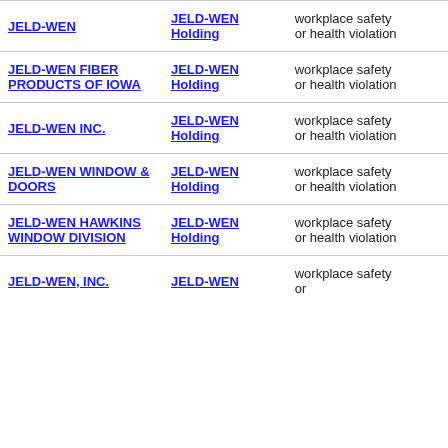| Company | Parent | Violation Type |  |
| --- | --- | --- | --- |
| JELD-WEN | JELD-WEN Holding | workplace safety or health violation |  |
| JELD-WEN FIBER PRODUCTS OF IOWA | JELD-WEN Holding | workplace safety or health violation |  |
| JELD-WEN INC. | JELD-WEN Holding | workplace safety or health violation |  |
| JELD-WEN WINDOW & DOORS | JELD-WEN Holding | workplace safety or health violation |  |
| JELD-WEN HAWKINS WINDOW DIVISION | JELD-WEN Holding | workplace safety or health violation |  |
| JELD-WEN, INC. | JELD-WEN | workplace safety or |  |